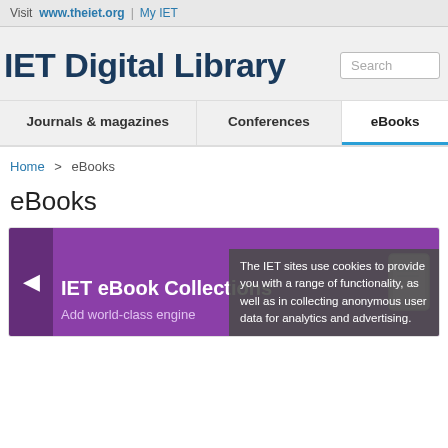Visit www.theiet.org | My IET
IET Digital Library
Journals & magazines   Conferences   eBooks
Home > eBooks
eBooks
[Figure (screenshot): IET eBook Collections banner with purple background, left arrow navigation, tablet device image, and cookie notice overlay reading: The IET sites use cookies to provide you with a range of functionality, as well as in collecting anonymous user data for analytics and advertising.]
IET eBook Collections
Add world-class engineering...
The IET sites use cookies to provide you with a range of functionality, as well as in collecting anonymous user data for analytics and advertising.